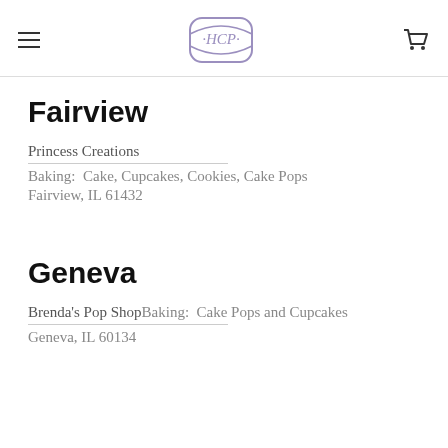HCP
Fairview
Princess Creations
Baking:  Cake, Cupcakes, Cookies, Cake Pops
Fairview, IL 61432
Geneva
Brenda's Pop ShopBaking:  Cake Pops and Cupcakes
Geneva, IL 60134